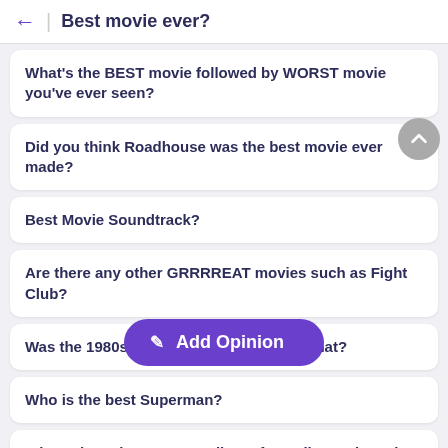Best movie ever?
What's the BEST movie followed by WORST movie you've ever seen?
Did you think Roadhouse was the best movie ever made?
Best Movie Soundtrack?
Are there any other GRRRREAT movies such as Fight Club?
Was the 1980s the best decade ever or what?
Who is the best Superman?
Where does the money really go for Hollywood movie
Add Opinion